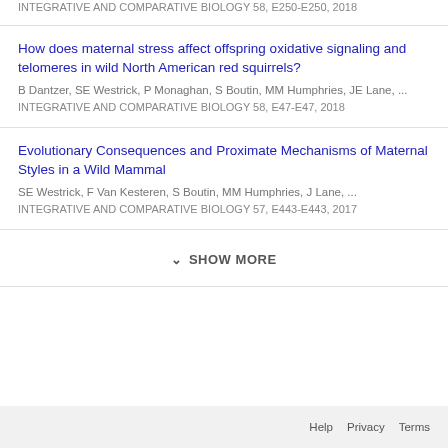INTEGRATIVE AND COMPARATIVE BIOLOGY 58, E250-E250, 2018
How does maternal stress affect offspring oxidative signaling and telomeres in wild North American red squirrels?
B Dantzer, SE Westrick, P Monaghan, S Boutin, MM Humphries, JE Lane, ...
INTEGRATIVE AND COMPARATIVE BIOLOGY 58, E47-E47, 2018
Evolutionary Consequences and Proximate Mechanisms of Maternal Styles in a Wild Mammal
SE Westrick, F Van Kesteren, S Boutin, MM Humphries, J Lane, ...
INTEGRATIVE AND COMPARATIVE BIOLOGY 57, E443-E443, 2017
SHOW MORE
Help  Privacy  Terms